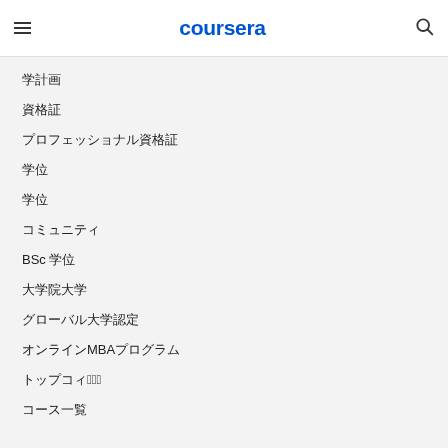coursera
�������
������
����������������
���
���
�����������
BSc ����
�������...
�����������������
����MBA���������
���������7����
����������